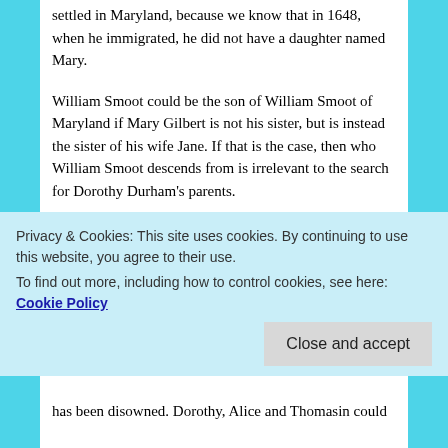settled in Maryland, because we know that in 1648, when he immigrated, he did not have a daughter named Mary.
William Smoot could be the son of William Smoot of Maryland if Mary Gilbert is not his sister, but is instead the sister of his wife Jane. If that is the case, then who William Smoot descends from is irrelevant to the search for Dorothy Durham's parents.
It's possible that William Smoot's wife is the person related to Mary Gilbert, and that Jane Smoot and Mary Gilbert's parents are also the grandparents of Dorothy Durham through an unknown parent.
Having sifted through all of the available information, the
Privacy & Cookies: This site uses cookies. By continuing to use this website, you agree to their use.
To find out more, including how to control cookies, see here: Cookie Policy
has been disowned. Dorothy, Alice and Thomasin could